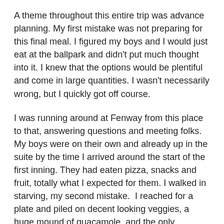A theme throughout this entire trip was advance planning. My first mistake was not preparing for this final meal. I figured my boys and I would just eat at the ballpark and didn't put much thought into it. I knew that the options would be plentiful and come in large quantities. I wasn't necessarily wrong, but I quickly got off course.
I was running around at Fenway from this place to that, answering questions and meeting folks. My boys were on their own and already up in the suite by the time I arrived around the start of the first inning. They had eaten pizza, snacks and fruit, totally what I expected for them. I walked in starving, my second mistake.  I reached for a plate and piled on decent looking veggies, a huge mound of guacamole, and the only available protein, stale fried chicken strips. I could have reached into my bag and